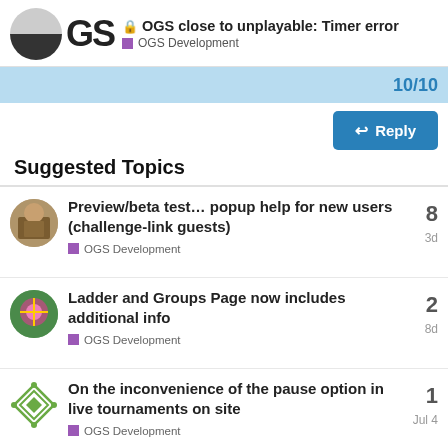OGS close to unplayable: Timer error — OGS Development
Suggested Topics
Preview/beta test… popup help for new users (challenge-link guests) — OGS Development — 8 replies — 3d
Ladder and Groups Page now includes additional info — OGS Development — 2 replies — 8d
On the inconvenience of the pause option in live tournaments on site — OGS Development — 1 reply — Jul 4
Make OGS usable in school — OGS Development — 24 replies — 5d